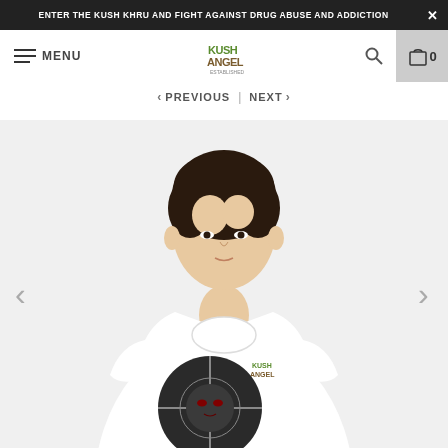ENTER THE KUSH KHRU AND FIGHT AGAINST DRUG ABUSE AND ADDICTION
MENU
[Figure (logo): Kush Angel brand logo in green and brown lettering]
PREVIOUS | NEXT
[Figure (photo): Young Asian male model wearing a white t-shirt with a circular dark graphic design and Kush Angel logo on the chest]